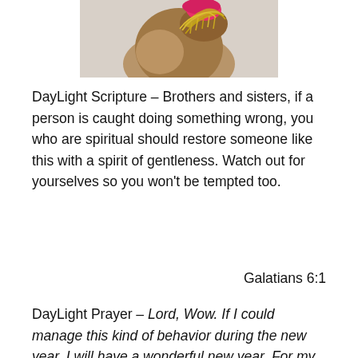[Figure (photo): A child or person with hair up, wearing or holding a pink and gold glittery decorative item (possibly a New Year's party hat or accessory), photographed against a light background.]
DayLight Scripture – Brothers and sisters, if a person is caught doing something wrong, you who are spiritual should restore someone like this with a spirit of gentleness. Watch out for yourselves so you won't be tempted too.
Galatians 6:1
DayLight Prayer – Lord, Wow. If I could manage this kind of behavior during the new year, I will have a wonderful new year. For my ability to serve others with a true spirit of gentleness is what I ask for today. Help me make a difference to someone in 2014. Amen.